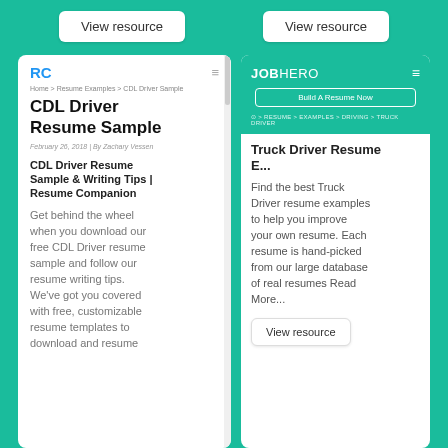[Figure (screenshot): View resource button on left, top area]
[Figure (screenshot): View resource button on right, top area]
[Figure (screenshot): Resume Companion website screenshot showing CDL Driver Resume Sample page with RC logo, breadcrumb navigation, title 'CDL Driver Resume Sample', date 'February 26, 2018 | By Zachary Vessen', subtitle 'CDL Driver Resume Sample & Writing Tips | Resume Companion', and body text beginning 'Get behind the wheel when you download our free CDL Driver resume sample and follow our resume writing tips. We've got you covered with free, customizable resume templates to download and resume']
[Figure (screenshot): JobHero website screenshot with green header showing JOBHERO logo, hamburger menu, 'Build A Resume Now' button, breadcrumb '> RESUME > EXAMPLES > DRIVING > TRUCK DRIVER', section title 'Truck Driver Resume...' and body text 'Find the best Truck Driver resume examples to help you improve your own resume. Each resume is hand-picked from our large database of real resumes Read More...' with a 'View resource' button at bottom]